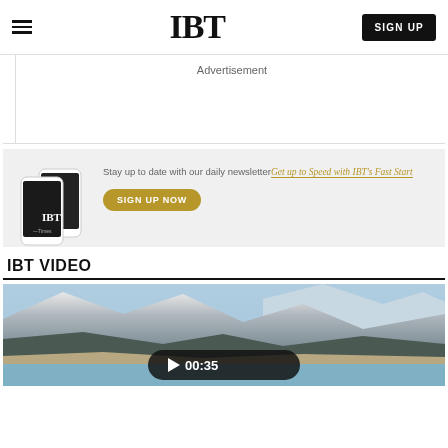IBT
Advertisement
[Figure (screenshot): Newsletter signup banner with IBT app on phone mockup. Text: Stay up to date with our daily newsletter | Get up to Speed with IBT's Fast Start | SIGN UP NOW button]
IBT VIDEO
[Figure (photo): Landscape mountain lake scene video thumbnail with play button overlay showing 00:35 duration]